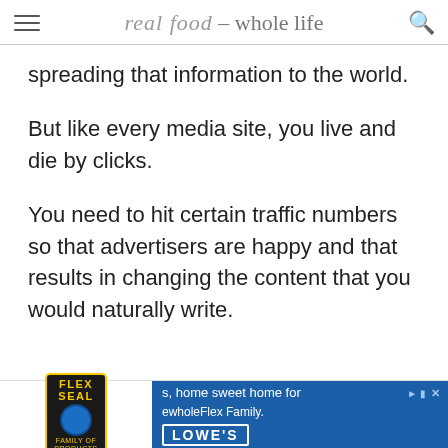real food - whole life
spreading that information to the world.
But like every media site, you live and die by clicks.
You need to hit certain traffic numbers so that advertisers are happy and that results in changing the content that you would naturally write.
[Figure (other): Advertisement banner: Flex Seal logo on left, Lowe's blue advertisement on right reading 's, home sweet home for ewholeFlex Family.' with play and close controls]